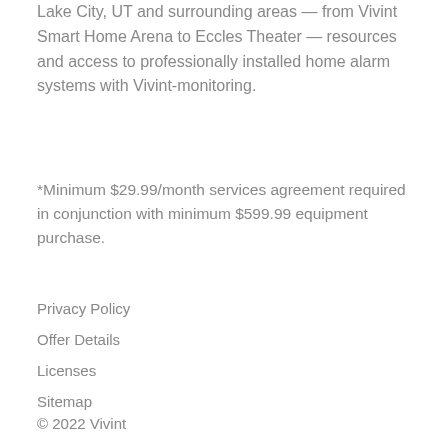Lake City, UT and surrounding areas — from Vivint Smart Home Arena to Eccles Theater — resources and access to professionally installed home alarm systems with Vivint-monitoring.
*Minimum $29.99/month services agreement required in conjunction with minimum $599.99 equipment purchase.
Privacy Policy
Offer Details
Licenses
Sitemap
© 2022 Vivint